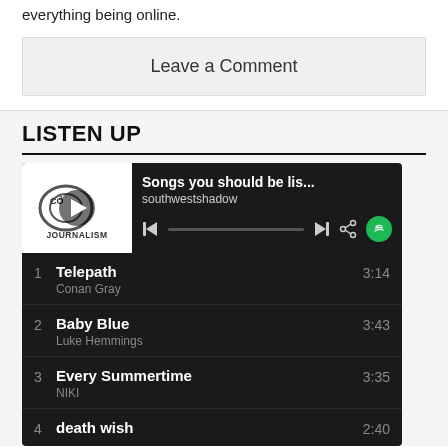everything being online.
Leave a Comment
LISTEN UP
[Figure (screenshot): Spotify embedded playlist widget showing 'Songs you should be lis...' by southwestshadow with playback controls, followed by a dark-themed track list showing: 1. Telepath - Conan Gray 3:14, 2. Baby Blue - Luke Hemmings 3:43, 3. Every Summertime - NIKI 3:35, 4. death wish 2:40]